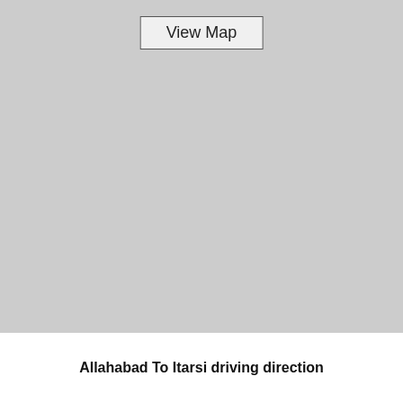[Figure (map): A gray placeholder map area with a 'View Map' button near the top center.]
Allahabad To Itarsi driving direction